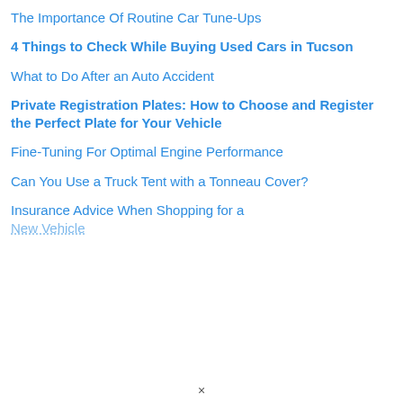The Importance Of Routine Car Tune-Ups
4 Things to Check While Buying Used Cars in Tucson
What to Do After an Auto Accident
Private Registration Plates: How to Choose and Register the Perfect Plate for Your Vehicle
Fine-Tuning For Optimal Engine Performance
Can You Use a Truck Tent with a Tonneau Cover?
Insurance Advice When Shopping for a New Vehicle